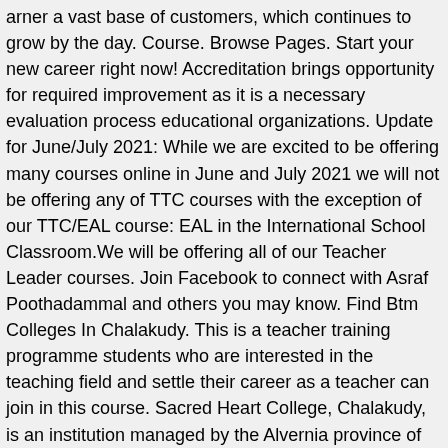arner a vast base of customers, which continues to grow by the day. Course. Browse Pages. Start your new career right now! Accreditation brings opportunity for required improvement as it is a necessary evaluation process educational organizations. Update for June/July 2021: While we are excited to be offering many courses online in June and July 2021 we will not be offering any of TTC courses with the exception of our TTC/EAL course: EAL in the International School Classroom.We will be offering all of our Teacher Leader courses. Join Facebook to connect with Asraf Poothadammal and others you may know. Find Btm Colleges In Chalakudy. This is a teacher training programme students who are interested in the teaching field and settle their career as a teacher can join in this course. Sacred Heart College, Chalakudy, is an institution managed by the Alvernia province of Franciscan Clarist congregation, affiliated to the University of Calicut and aided by the Kerala government. Government Tti, Chalakudy College (GT) located at - - Kerala is one of the best colleges in India. Chalakudy. Commerce academy has 25 years of good